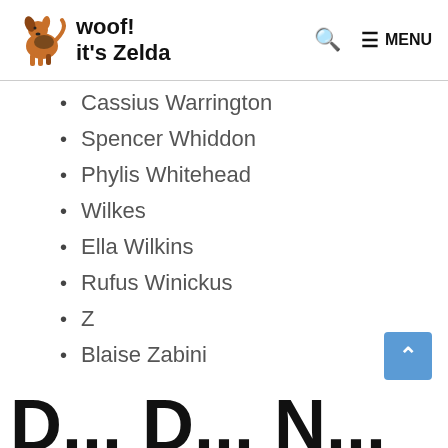woof! it's Zelda
Cassius Warrington
Spencer Whiddon
Phylis Whitehead
Wilkes
Ella Wilkins
Rufus Winickus
Z
Blaise Zabini
B... D... N...